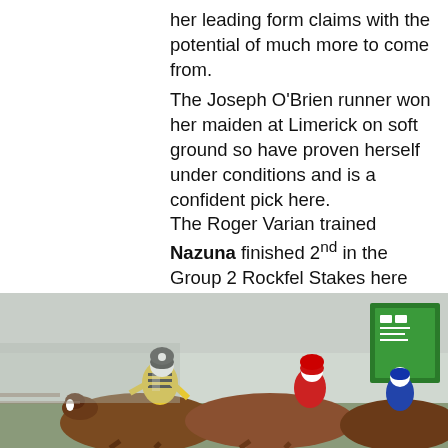her leading form claims with the potential of much more to come from.
The Joseph O’Brien runner won her maiden at Limerick on soft ground so have proven herself under conditions and is a confident pick here.
The Roger Varian trained Nazuna finished 2nd in the Group 2 Rockfel Stakes here recently and should be thereabouts once more
Selection:  Thinking Of You (Next Best)
[Figure (photo): Horse racing photo showing jockeys and horses in a race, with green race course signage in background]